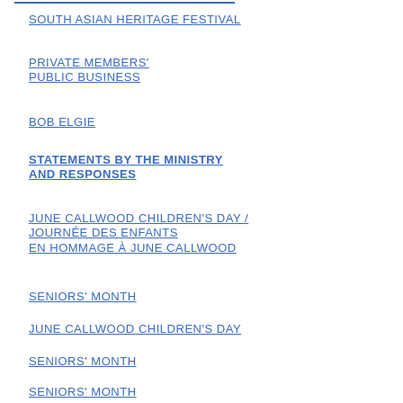SOUTH ASIAN HERITAGE FESTIVAL
PRIVATE MEMBERS' PUBLIC BUSINESS
BOB ELGIE
STATEMENTS BY THE MINISTRY AND RESPONSES
JUNE CALLWOOD CHILDREN'S DAY / JOURNÉE DES ENFANTS EN HOMMAGE À JUNE CALLWOOD
SENIORS' MONTH
JUNE CALLWOOD CHILDREN'S DAY
SENIORS' MONTH
SENIORS' MONTH